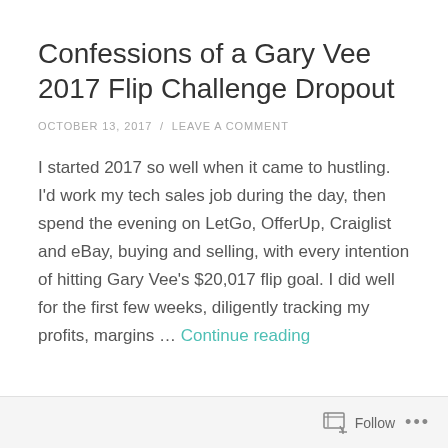Confessions of a Gary Vee 2017 Flip Challenge Dropout
OCTOBER 13, 2017 / LEAVE A COMMENT
I started 2017 so well when it came to hustling. I'd work my tech sales job during the day, then spend the evening on LetGo, OfferUp, Craiglist and eBay, buying and selling, with every intention of hitting Gary Vee's $20,017 flip goal. I did well for the first few weeks, diligently tracking my profits, margins … Continue reading
Follow ...